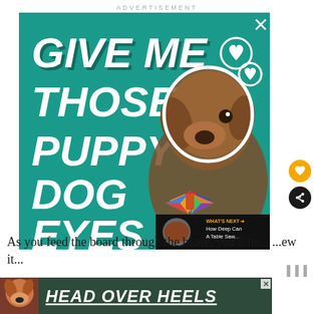ADVERTISEMENT
[Figure (illustration): Advertisement banner with teal background showing a brindle dog wearing a colorful bow tie and text reading 'GIVE ME THOSE PUPPY DOG EYES' in large white italic bold letters with heart outlines in the upper right corner. Small X close button in top right. Yellow like button and dark share button on the right side. 'What's Next' bar showing 'How Deep Can A Table Saw...' in bottom right.]
As you feed the board through the blade, you'll ne... ...ew it...
[Figure (illustration): Bottom advertisement bar with dark green background showing a small dog image on the left and text 'HEAD OVER HEELS' in large white bold italic underlined letters]